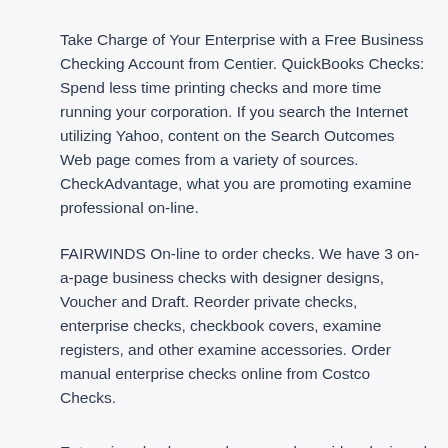Take Charge of Your Enterprise with a Free Business Checking Account from Centier. QuickBooks Checks: Spend less time printing checks and more time running your corporation. If you search the Internet utilizing Yahoo, content on the Search Outcomes Web page comes from a variety of sources. CheckAdvantage, what you are promoting examine professional on-line.
FAIRWINDS On-line to order checks. We have 3 on-a-page business checks with designer designs, Voucher and Draft. Reorder private checks, enterprise checks, checkbook covers, examine registers, and other examine accessories. Order manual enterprise checks online from Costco Checks.
Enterprise checks, envelopes, and provides designed to work seamlessly with QuickBooks and Intuit products. Our clean laser voucher checks are printed on top…